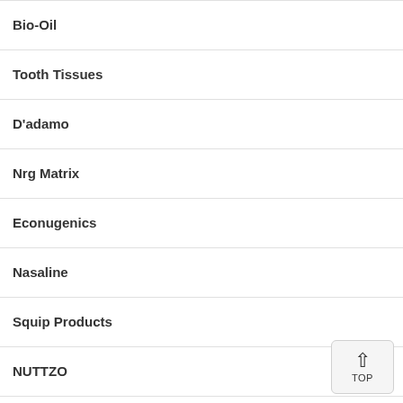Bio-Oil
Tooth Tissues
D'adamo
Nrg Matrix
Econugenics
Nasaline
Squip Products
NUTTZO